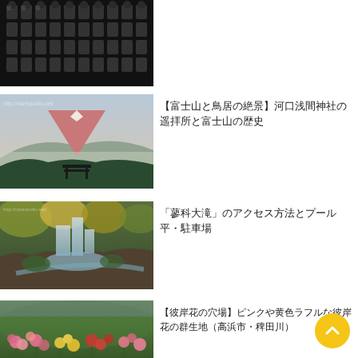[Figure (photo): Black and white photo of rows of small Buddha/Jizo statues arranged in a grid on a dark wall]
[Figure (photo): Landscape photo showing Mount Fuji with a pink/red hue at dusk, with a torii gate in the foreground and misty mountains and trees]
【富士山と鳥居の絶景】河口浅間神社の遥拝所と富士山の歴史
[Figure (photo): Photo of a multi-tiered waterfall cascading over mossy rocks with a stream in autumn forest setting]
「蓼科大滝」のアクセス方法とプール平・駐車場
[Figure (photo): Photo of colorful higanbana (spider lily) flowers — pink, yellow, red — growing in a field near a river]
【彼岸花の穴場】ピンクや黄色ラフルな彼岸花の群生地（高浜市・稗田川）